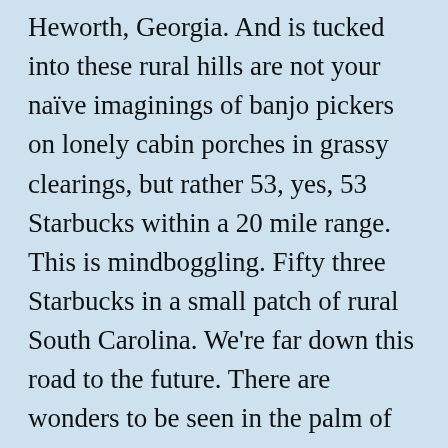Heworth, Georgia. And is tucked into these rural hills are not your naïve imaginings of banjo pickers on lonely cabin porches in grassy clearings, but rather 53, yes, 53 Starbucks within a 20 mile range. This is mindboggling. Fifty three Starbucks in a small patch of rural South Carolina. We're far down this road to the future. There are wonders to be seen in the palm of your hand.
Rob has located a Starbucks. We're exiting for Cartersville. At 605 Main Street, we are promised a Starbucks. We stop at the access road. In every direction are tall pines. Surely we will see the maiden Hiawatha treading a cool shaded trail. No. There's a fresh red dirt gash in forest slope, and a pastel gas center